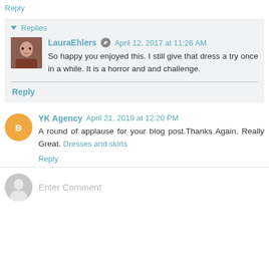Reply
▾ Replies
LauraEhlers ✏ April 12, 2017 at 11:26 AM
So happy you enjoyed this. I still give that dress a try once in a while. It is a horror and and challenge.
Reply
YK Agency April 21, 2019 at 12:20 PM
A round of applause for your blog post.Thanks Again. Really Great. Dresses and skirts
Reply
Enter Comment